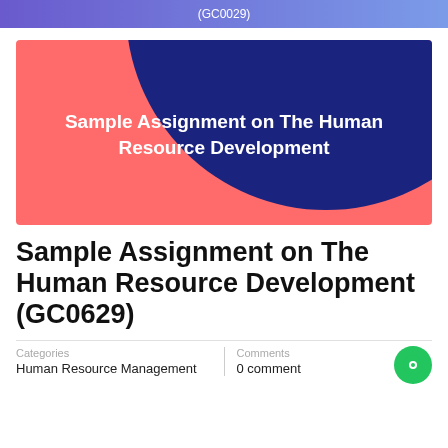(GC0029)
[Figure (illustration): Decorative banner image with coral/salmon red background and large dark blue circle overlapping from the top-right. White bold text reads: Sample Assignment on The Human Resource Development]
Sample Assignment on The Human Resource Development (GC0629)
Categories
Human Resource Management
Comments
0 comment